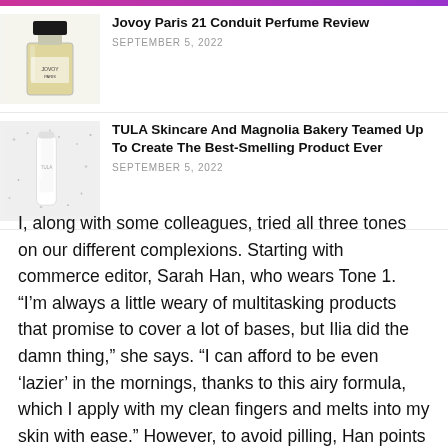[Figure (photo): Jovoy Paris 21 Conduit perfume bottle – square glass bottle with black cap and yellow/gold liquid]
Jovoy Paris 21 Conduit Perfume Review
SEPTEMBER 5, 2022
[Figure (photo): TULA Skincare and Magnolia Bakery product – white packaging on speckled surface]
TULA Skincare And Magnolia Bakery Teamed Up To Create The Best-Smelling Product Ever
SEPTEMBER 5, 2022
I, along with some colleagues, tried all three tones on our different complexions. Starting with commerce editor, Sarah Han, who wears Tone 1. “I’m always a little weary of multitasking products that promise to cover a lot of bases, but Ilia did the damn thing,” she says. “I can afford to be even ‘lazier’ in the mornings, thanks to this airy formula, which I apply with my clean fingers and melts into my skin with ease.” However, to avoid pilling, Han points out that she skips any skin-care products